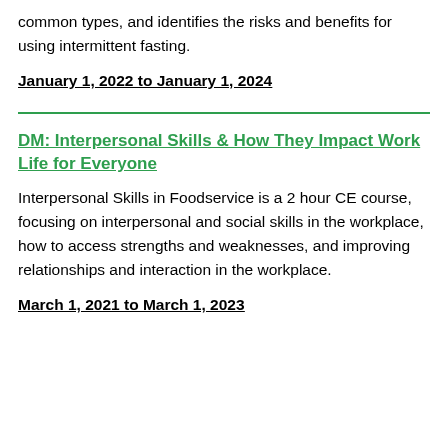common types, and identifies the risks and benefits for using intermittent fasting.
January 1, 2022 to January 1, 2024
DM: Interpersonal Skills & How They Impact Work Life for Everyone
Interpersonal Skills in Foodservice is a 2 hour CE course, focusing on interpersonal and social skills in the workplace, how to access strengths and weaknesses, and improving relationships and interaction in the workplace.
March 1, 2021 to March 1, 2023